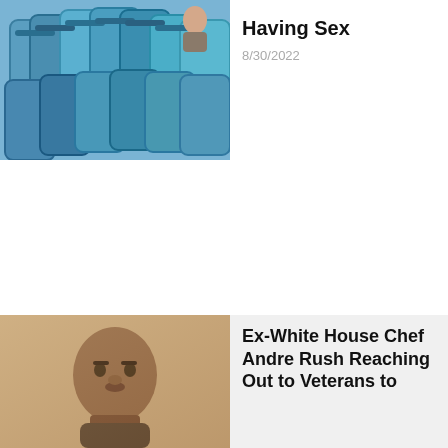[Figure (photo): Blue stadium chairs with a person visible in the background, viewed from an angle]
Having Sex
8/30/2022
[Figure (photo): Portrait of a Black man, ex-White House Chef Andre Rush]
Ex-White House Chef Andre Rush Reaching Out to Veterans to